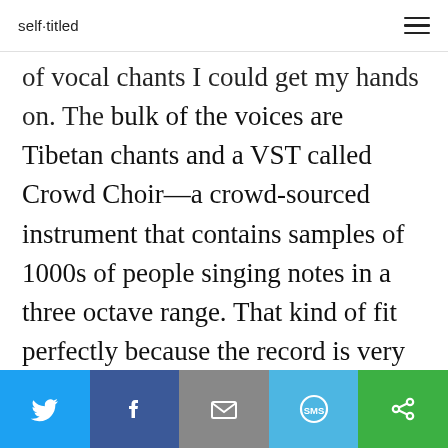self-titled
of vocal chants I could get my hands on. The bulk of the voices are Tibetan chants and a VST called Crowd Choir—a crowd-sourced instrument that contains samples of 1000s of people singing notes in a three octave range. That kind of fit perfectly because the record is very Web-focused. It contains a lot of found sounds and YouTube rips. The track is composed of lots of rain, cars, robotic arpeggios, mechanical samples.... basically,
Twitter | Facebook | Email | SMS | Copy